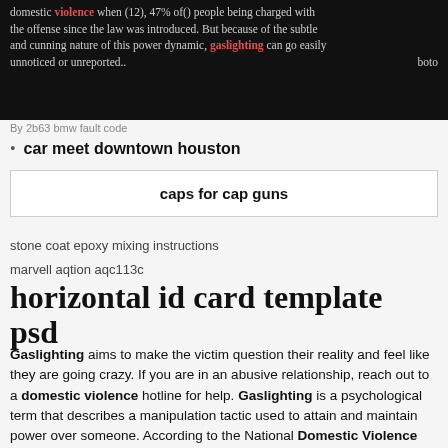domestic violence when (12), 47% of() people being charged with the offense since the law was introduced. But because of the subtle and cunning nature of this power dynamic, gaslighting can go easily unnoticed or unreported.. boto
By 2b63 bmw fault code
car meet downtown houston
caps for cap guns
stone coat epoxy mixing instructions
marvell aqtion aqc113c
horizontal id card template psd
Gaslighting aims to make the victim question their reality and feel like they are going crazy. If you are in an abusive relationship, reach out to a domestic violence hotline for help. Gaslighting is a psychological term that describes a manipulation tactic used to attain and maintain power over someone. According to the National Domestic Violence Hotline, it's actually a form.